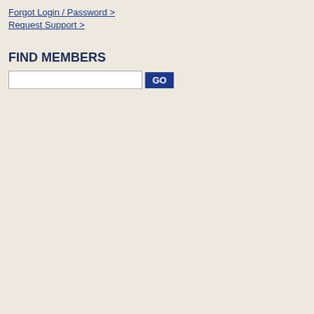Forgot Login / Password >
Request Support >
FIND MEMBERS
[Figure (screenshot): Search input box with GO button for finding members]
[Figure (illustration): Coin obverse image placeholder showing IMAGE NOT AVAILABLE text in a circle on gray background]
COIN DETAILS
| Field | Value |
| --- | --- |
| Origin/Country: | United States |
| Design Description: | MODERN COMMEMOR... |
| Item Description: | 50C 1991 D MOUNT RU... |
| Full Grade: |  |